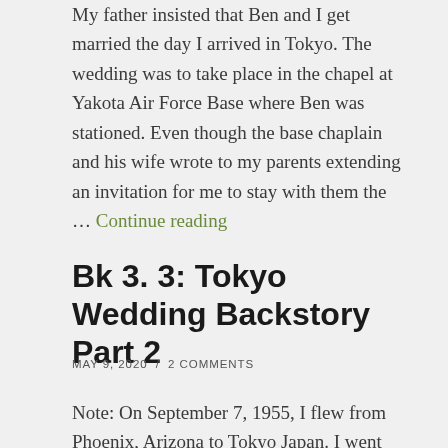My father insisted that Ben and I get married the day I arrived in Tokyo.  The wedding was to take place in the chapel at Yakota Air Force Base where Ben was stationed.  Even though the base chaplain and his wife wrote to my parents extending an invitation for me to stay with them the … Continue reading
Bk 3. 3: Tokyo Wedding Backstory Part 2
MAY 9, 2020  /  2 COMMENTS
Note: On September 7, 1955, I flew from Phoenix, Arizona to Tokyo Japan. I went there to marry a young